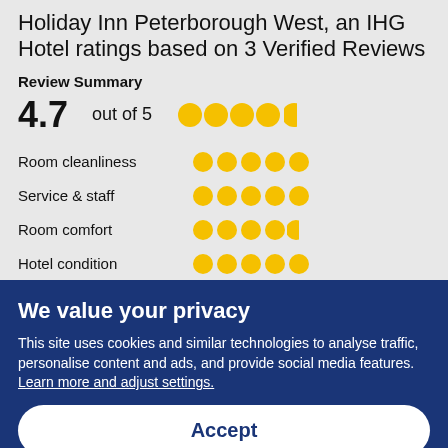Holiday Inn Peterborough West, an IHG Hotel ratings based on 3 Verified Reviews
Review Summary
4.7 out of 5
Room cleanliness
Service & staff
Room comfort
Hotel condition
We value your privacy
This site uses cookies and similar technologies to analyse traffic, personalise content and ads, and provide social media features. Learn more and adjust settings.
Accept